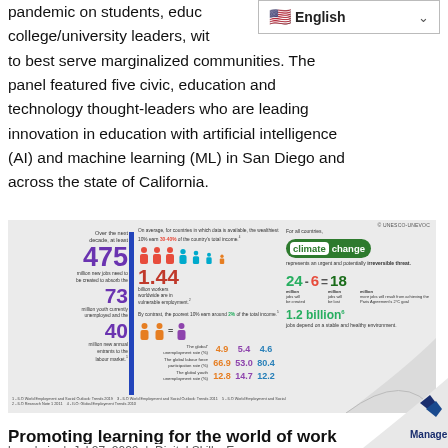pandemic on students, educators, and college/university leaders, with to best serve marginalized communities. The panel featured five civic, education and technology thought-leaders who are leading innovation in education with artificial intelligence (AI) and machine learning (ML) in San Diego and across the state of California.
[Figure (infographic): UNESCO-UNEVOC infographic showing global employment statistics: 475 million new jobs needed, 73 million youth unemployed, 40 million new annual entrants; 1.44 billion workers in vulnerable employment; income inequality data; climate change job figures (24-6=18 million); 1.2 billion jobs depend on healthy environment.]
Promoting learning for the world of work
by admin | Jul 27, 2020 | Digital Skills, Economy